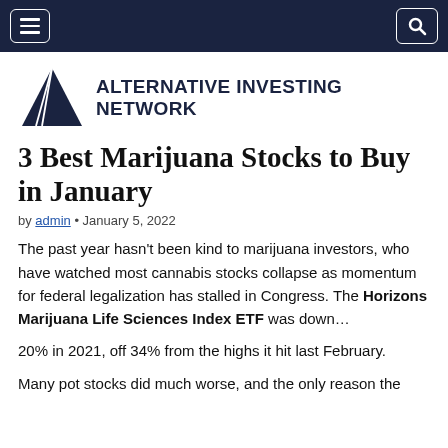Navigation bar with menu and search icons
[Figure (logo): Alternative Investing Network logo: dark navy triangle with white diagonal lines, beside bold navy text reading ALTERNATIVE INVESTING NETWORK]
3 Best Marijuana Stocks to Buy in January
by admin • January 5, 2022
The past year hasn't been kind to marijuana investors, who have watched most cannabis stocks collapse as momentum for federal legalization has stalled in Congress. The Horizons Marijuana Life Sciences Index ETF was down…
20% in 2021, off 34% from the highs it hit last February.
Many pot stocks did much worse, and the only reason the